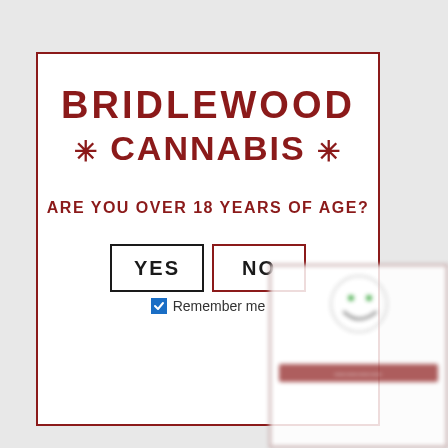BRIDLEWOOD
* CANNABIS *
ARE YOU OVER 18 YEARS OF AGE?
YES | NO
Remember me
[Figure (screenshot): Blurred overlay card in bottom-right corner showing a partially visible UI element with a smiley-like icon and red text, blurred and partially cropped]